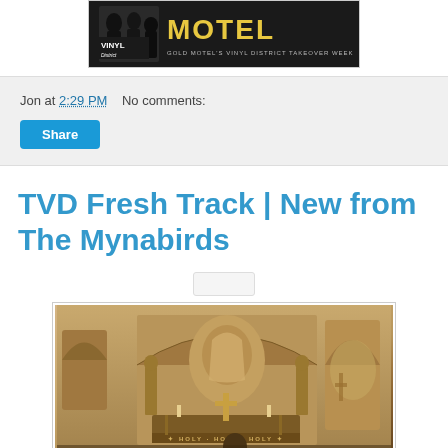[Figure (photo): Gold Motel Vinyl District Takeover Week banner advertisement with dark background, band photo, and text 'MOTEL', 'VINYL DISTRICT', 'GOLD MOTEL'S VINYL DISTRICT TAKEOVER WEEK']
Jon at 2:29 PM   No comments:
Share
TVD Fresh Track | New from The Mynabirds
[Figure (other): Small audio player placeholder]
[Figure (photo): Sepia-toned photograph of a church interior showing an altar with a cross, religious statues, stained glass arch windows, and a figure in the foreground. Text visible on altar reads 'HOLY HOLY HOLY'.]